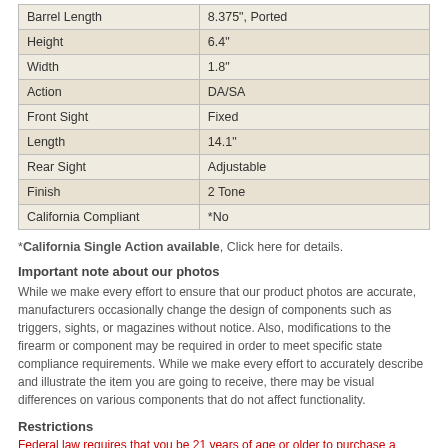|  |  |
| --- | --- |
| Barrel Length | 8.375", Ported |
| Height | 6.4" |
| Width | 1.8" |
| Action | DA/SA |
| Front Sight | Fixed |
| Length | 14.1" |
| Rear Sight | Adjustable |
| Finish | 2 Tone |
| California Compliant | *No |
*California Single Action available, Click here for details.
Important note about our photos
While we make every effort to ensure that our product photos are accurate, manufacturers occasionally change the design of components such as triggers, sights, or magazines without notice. Also, modifications to the firearm or component may be required in order to meet specific state compliance requirements. While we make every effort to accurately describe and illustrate the item you are going to receive, there may be visual differences on various components that do not affect functionality.
Restrictions
Federal law requires that you be 21 years of age or older to purchase a